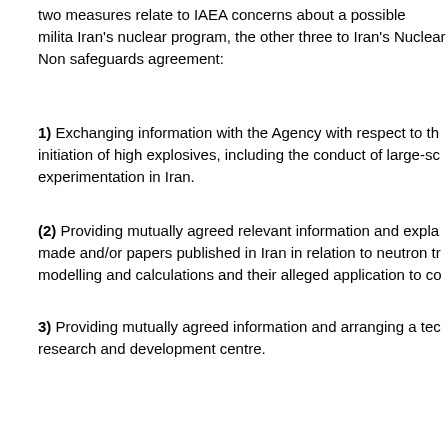two measures relate to IAEA concerns about a possible military dimension to Iran's nuclear program, the other three to Iran's Nuclear Non-Proliferation safeguards agreement:
1) Exchanging information with the Agency with respect to the initiation of high explosives, including the conduct of large-scale experimentation in Iran.
(2) Providing mutually agreed relevant information and explanations made and/or papers published in Iran in relation to neutron transport modelling and calculations and their alleged application to co...
3) Providing mutually agreed information and arranging a technical visit to a research and development centre.
(4) Providing mutually agreed information and managed access to workshops, centrifuge rotor production workshops, and storage facilities, concluding the safeguards approach for the IR-40 reactor.
The aim here is to complete implementation of these measures...